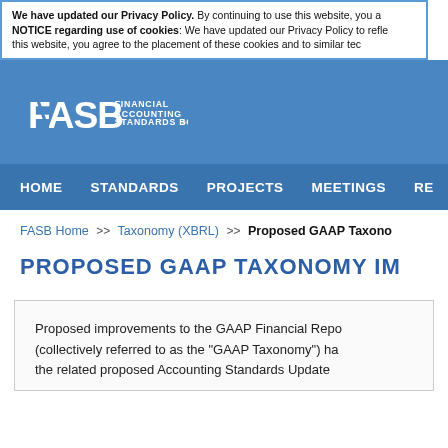We have updated our Privacy Policy. By continuing to use this website, you agree to the placement of these cookies and to similar technologies. NOTICE regarding use of cookies: We have updated our Privacy Policy to reflect changes in use of cookies on this website, you agree to the placement of these cookies and to similar technologies.
[Figure (logo): FASB Financial Accounting Standards Board logo on blue background]
HOME   STANDARDS   PROJECTS   MEETINGS   RE
FASB Home >> Taxonomy (XBRL) >> Proposed GAAP Taxono
PROPOSED GAAP TAXONOMY IM
Proposed improvements to the GAAP Financial Repo (collectively referred to as the "GAAP Taxonomy") ha the related proposed Accounting Standards Update